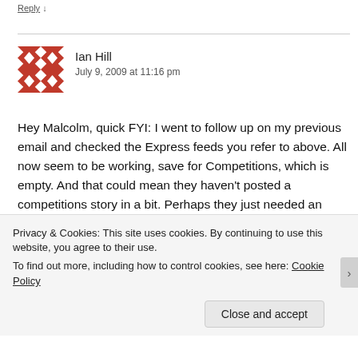Reply ↓
[Figure (illustration): Red and white geometric/quilt pattern avatar for Ian Hill]
Ian Hill
July 9, 2009 at 11:16 pm
Hey Malcolm, quick FYI: I went to follow up on my previous email and checked the Express feeds you refer to above. All now seem to be working, save for Competitions, which is empty. And that could mean they haven't posted a competitions story in a bit. Perhaps they just needed an email to let them know the feeds needed fixing.
Privacy & Cookies: This site uses cookies. By continuing to use this website, you agree to their use.
To find out more, including how to control cookies, see here: Cookie Policy
Close and accept